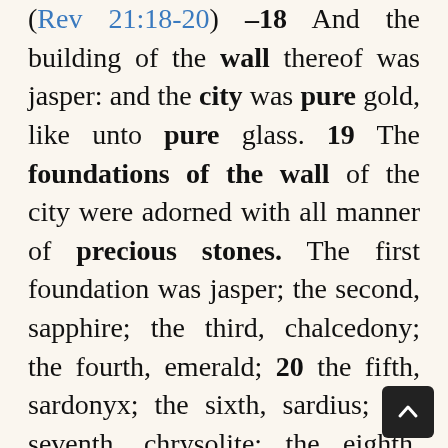(Rev 21:18-20) –18 And the building of the wall thereof was jasper: and the city was pure gold, like unto pure glass. 19 The foundations of the wall of the city were adorned with all manner of precious stones. The first foundation was jasper; the second, sapphire; the third, chalcedony; the fourth, emerald; 20 the fifth, sardonyx; the sixth, sardius; the seventh, chrysolite; the eighth, beryl; the ninth, topaz; the tenth, chrysoprase; the